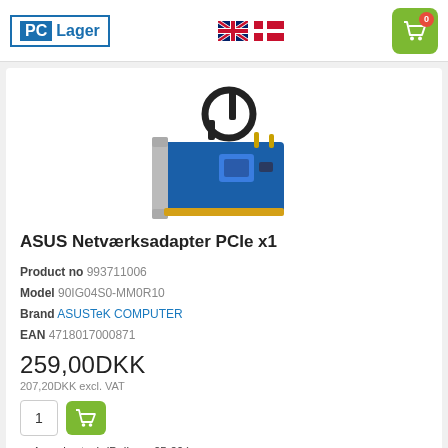[Figure (logo): PC Lager logo with blue border and blue text]
[Figure (illustration): Flag icons for English and Danish language selection]
[Figure (illustration): Green shopping cart icon with red badge showing 0]
[Figure (photo): ASUS PCIe x1 network adapter card with antennas and circular accessory]
ASUS Netværksadapter PCIe x1
Product no 993711006
Model 90IG04S0-MM0R10
Brand ASUSTeK COMPUTER
EAN 4718017000871
259,00DKK
207,20DKK excl. VAT
4 pcs in stock (Delivery 05-09 )